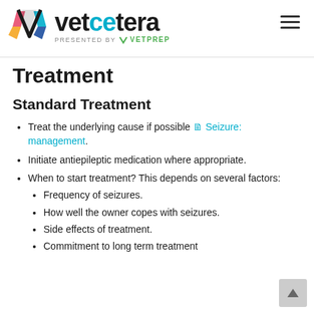vetcetera PRESENTED BY VetPrep
Treatment
Standard Treatment
Treat the underlying cause if possible Seizure: management.
Initiate antiepileptic medication where appropriate.
When to start treatment? This depends on several factors:
Frequency of seizures.
How well the owner copes with seizures.
Side effects of treatment.
Commitment to long term treatment